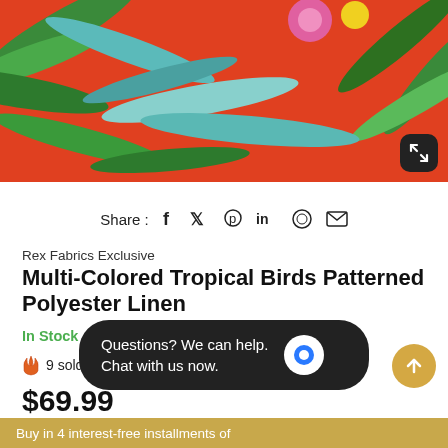[Figure (photo): Tropical birds patterned fabric with orange/red background, green palm leaves, pink and yellow flowers]
Share : f  𝕏  𝓟  in  ◎  ✉
Rex Fabrics Exclusive
Multi-Colored Tropical Birds Patterned Polyester Linen
In Stock   SKU: POLL85
9 sold in last 20 hours
$69.99
Questions? We can help. Chat with us now.
Buy in 4 interest-free installments of